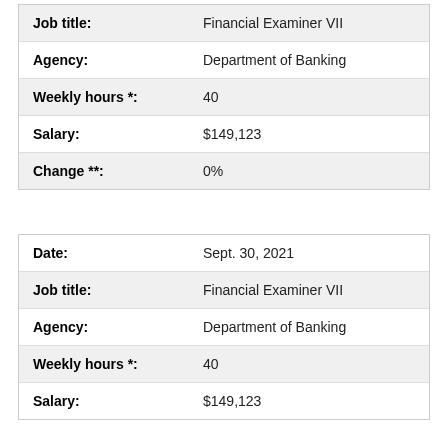| Field | Value |
| --- | --- |
| Job title: | Financial Examiner VII |
| Agency: | Department of Banking |
| Weekly hours *: | 40 |
| Salary: | $149,123 |
| Change **: | 0% |
| Field | Value |
| --- | --- |
| Date: | Sept. 30, 2021 |
| Job title: | Financial Examiner VII |
| Agency: | Department of Banking |
| Weekly hours *: | 40 |
| Salary: | $149,123 |